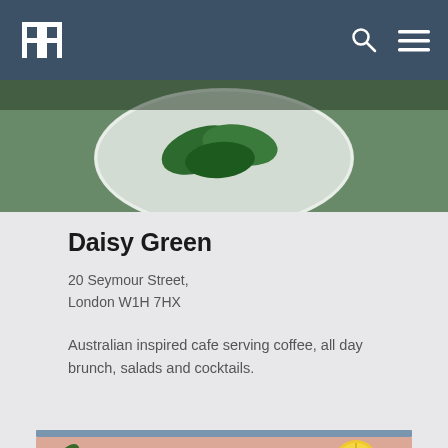MM logo, search icon, hamburger menu
[Figure (photo): Top-down view of a plate with green salad leaves on a white plate, partially cropped]
Daisy Green
20 Seymour Street, London W1H 7HX
Australian inspired cafe serving coffee, all day brunch, salads and cocktails.
[Figure (photo): Bottom portion: peach/salmon colored background with green herbs/leaves on left, lemon slice on right, white bowl/cream in center]